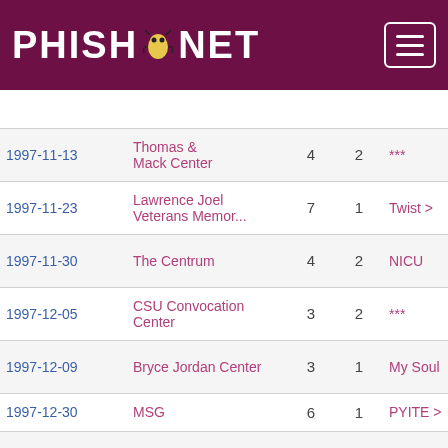PHISH.NET
| Date | Venue | # | Set | Song | -> |
| --- | --- | --- | --- | --- | --- |
|  |  |  |  |  | Sk... |
| 1997-11-13 | Thomas & Mack Center | 4 | 2 | *** | PY... |
| 1997-11-23 | Lawrence Joel Veterans Memor... | 7 | 1 | Twist > | -> |
| 1997-11-30 | The Centrum | 4 | 2 | NICU | -> |
| 1997-12-05 | CSU Convocation Center | 3 | 2 | *** | Bo... |
| 1997-12-09 | Bryce Jordan Center | 3 | 1 | My Soul | > H... |
| 1997-12-30 | MSG | 6 | 1 | PYITE > | CD... |
| 1998-04-02 | Nassau | 2 | 1 | NICU | > H... |